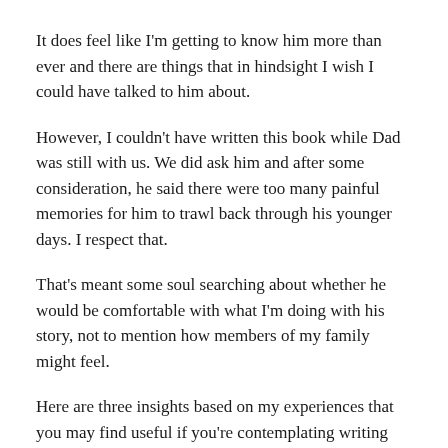It does feel like I'm getting to know him more than ever and there are things that in hindsight I wish I could have talked to him about.
However, I couldn't have written this book while Dad was still with us. We did ask him and after some consideration, he said there were too many painful memories for him to trawl back through his younger days. I respect that.
That's meant some soul searching about whether he would be comfortable with what I'm doing with his story, not to mention how members of my family might feel.
Here are three insights based on my experiences that you may find useful if you're contemplating writing about yourself or a member of your family:
1. Write your story. There will be plenty of time later to